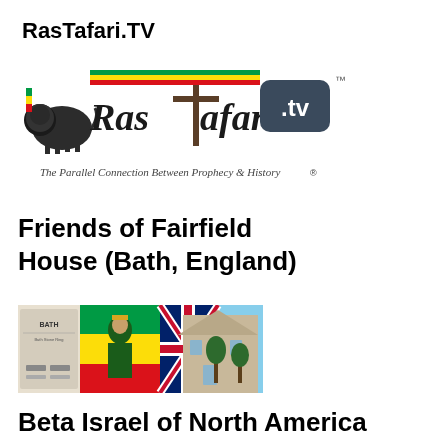RasTafari.TV
[Figure (logo): RasTafari.TV logo with lion, cross staff, and .tv badge. Tagline: The Parallel Connection Between Prophecy & History®]
Friends of Fairfield House (Bath, England)
[Figure (photo): Banner image showing a stone building, Ethiopian flag, Ethiopian figure, and Union Jack flag with Bath signage]
Beta Israel of North America
[Figure (logo): BINA logo in large brown letters with a green and yellow Star of David triangle symbol]